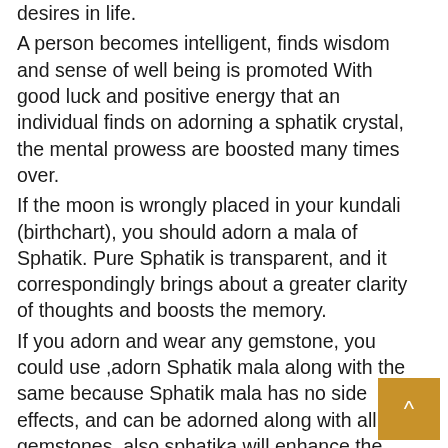desires in life. A person becomes intelligent, finds wisdom and sense of well being is promoted With good luck and positive energy that an individual finds on adorning a sphatik crystal, the mental prowess are boosted many times over. If the moon is wrongly placed in your kundali (birthchart), you should adorn a mala of Sphatik. Pure Sphatik is transparent, and it correspondingly brings about a greater clarity of thoughts and boosts the memory. If you adorn and wear any gemstone, you could use ,adorn Sphatik mala along with the same because Sphatik mala has no side effects, and can be adorned along with all gemstones, also sphatika will enhance the energy of other crystals. With Sphatik mala often adorned along